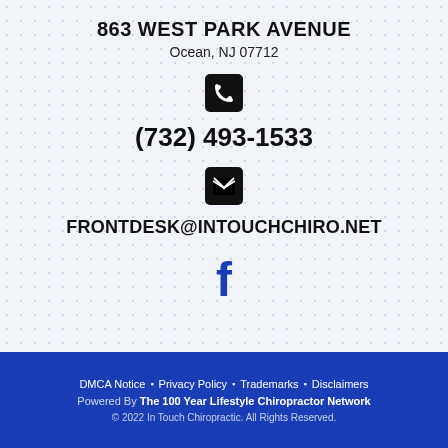863 WEST PARK AVENUE
Ocean, NJ 07712
[Figure (other): Phone icon — black rounded square with white handset]
(732) 493-1533
[Figure (other): Email/envelope icon — black open envelope]
FRONTDESK@INTOUCHCHIRO.NET
[Figure (other): Facebook logo icon in blue]
DMCA Notice • Privacy Policy • Trademarks • Disclaimers  Powered By The 100 Year Lifestyle Chiropractor Network  © 2022 In Touch Chiropractic. All Rights Reserved.